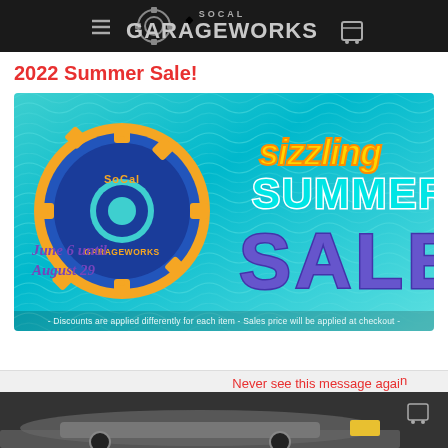SoCal GarageWorks
2022 Summer Sale!
[Figure (illustration): SoCal GarageWorks Sizzling Summer Sale promotional banner. Features a pool-water background, SoCal GarageWorks gear/float logo on the left, colorful 'Sizzling Summer SALE' text on the right, date 'June 6 until August 29' on the lower left, and fine print '- Discounts are applied differently for each item - Sales price will be applied at checkout -' at the bottom.]
Never see this message again